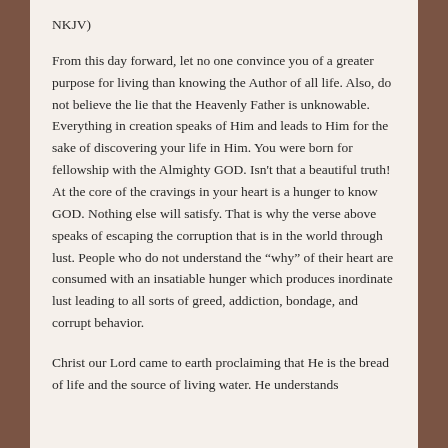NKJV)
From this day forward, let no one convince you of a greater purpose for living than knowing the Author of all life. Also, do not believe the lie that the Heavenly Father is unknowable. Everything in creation speaks of Him and leads to Him for the sake of discovering your life in Him. You were born for fellowship with the Almighty GOD. Isn't that a beautiful truth! At the core of the cravings in your heart is a hunger to know GOD. Nothing else will satisfy. That is why the verse above speaks of escaping the corruption that is in the world through lust. People who do not understand the “why” of their heart are consumed with an insatiable hunger which produces inordinate lust leading to all sorts of greed, addiction, bondage, and corrupt behavior.
Christ our Lord came to earth proclaiming that He is the bread of life and the source of living water. He understands